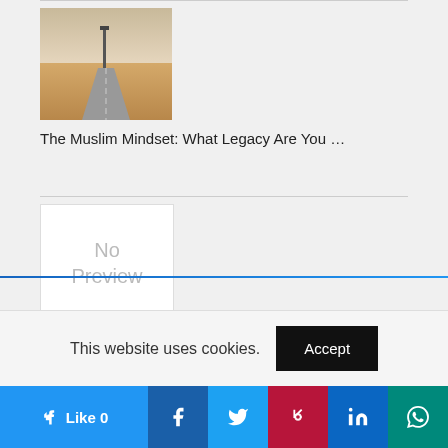[Figure (photo): Thumbnail image for Muslim Mindset article — desert road scene]
The Muslim Mindset: What Legacy Are You …
[Figure (other): No Preview placeholder image]
Tuhfatul Atfaal Lessons on Idgham
[Figure (photo): Thumbnail showing three sports celebrities]
How These 3 Sports Celebrities Promote Islam …
FIND US ON FACEBOOK
This website uses cookies.
Accept
Like 0